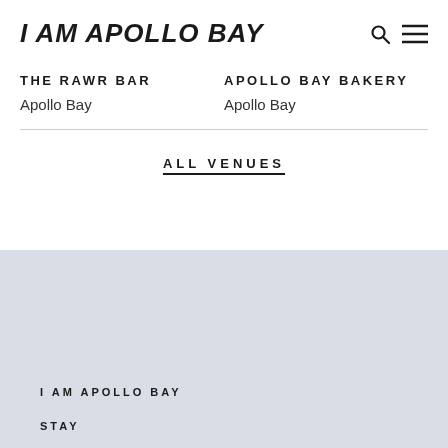I AM APOLLO BAY
THE RAWR BAR
Apollo Bay
APOLLO BAY BAKERY
Apollo Bay
ALL VENUES
I AM APOLLO BAY
STAY